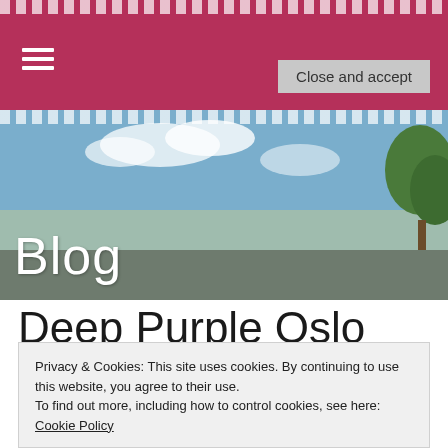☰ (navigation menu)
[Figure (photo): Blog header banner with sky, clouds, and tree silhouette on right; gray/brown ground. White cursive 'Blog' text in lower left.]
Deep Purple Oslo
2017
Privacy & Cookies: This site uses cookies. By continuing to use this website, you agree to their use.
To find out more, including how to control cookies, see here: Cookie Policy
Close and accept
On November 9th Deep Purple will enter the stage in
Oslo Spektrum. This will be one of the highlights in the